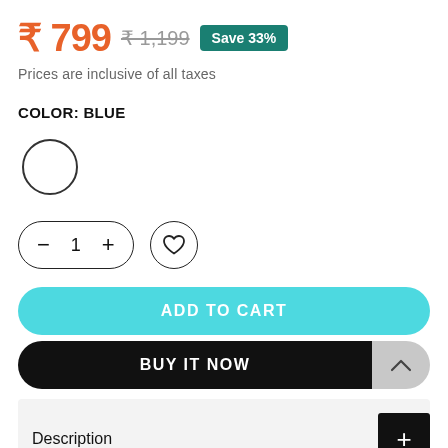₹ 799  ₹ 1,199  Save 33%
Prices are inclusive of all taxes
COLOR: BLUE
[Figure (illustration): A circular color swatch (white/blue) with dark border representing the selected color option]
[Figure (illustration): Quantity selector with minus button, quantity 1, plus button, and a wishlist heart icon button]
ADD TO CART
BUY IT NOW
Description